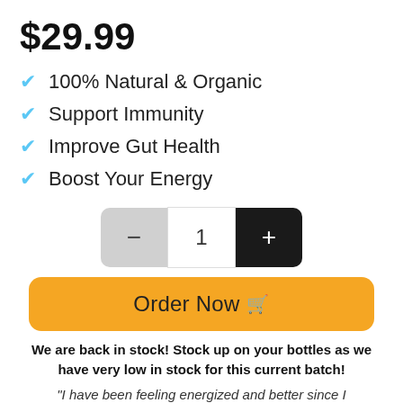$29.99
100% Natural & Organic
Support Immunity
Improve Gut Health
Boost Your Energy
[Figure (other): Quantity selector with minus button, quantity 1, and plus button]
Order Now 🛒
We are back in stock! Stock up on your bottles as we have very low in stock for this current batch!
"I have been feeling energized and better since I